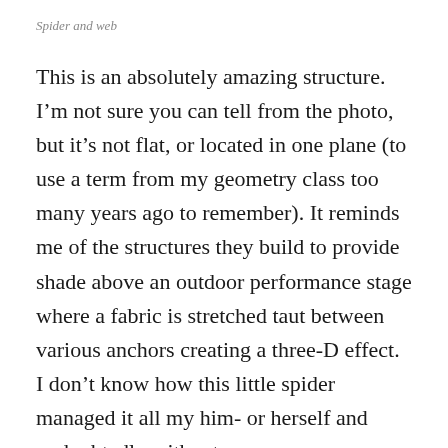Spider and web
This is an absolutely amazing structure. I'm not sure you can tell from the photo, but it's not flat, or located in one plane (to use a term from my geometry class too many years ago to remember). It reminds me of the structures they build to provide shade above an outdoor performance stage where a fabric is stretched taut between various anchors creating a three-D effect. I don't know how this little spider managed it all my him- or herself and undoubtedly without a compass, or protractor, let alone a computer, to boot. There's some pretty cool geometry going on here.